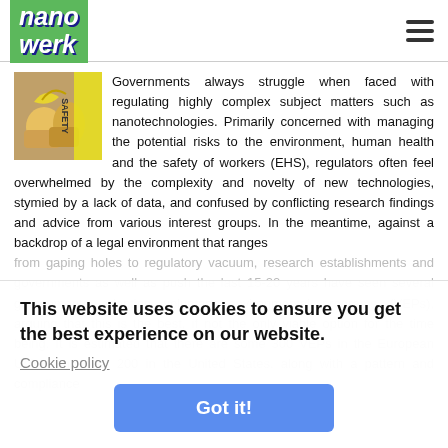nanowerk
[Figure (illustration): Safety image showing gloved hands and yellow safety label]
Governments always struggle when faced with regulating highly complex subject matters such as nanotechnologies. Primarily concerned with managing the potential risks to the environment, human health and the safety of workers (EHS), regulators often feel overwhelmed by the complexity and novelty of new technologies, stymied by a lack of data, and confused by conflicting research findings and advice from various interest groups. In the meantime, against a backdrop of a legal environment that ranges from gaping holes to regulatory vacuum, research establishments and governments as well as push ... the last 15-20 years have seen several governments adopting voluntary environmental programs (VEPs), arguing that this is the best, if not the only viable option for the time being. It is estimated that there are some 300 VEPs in the European Union and over 200 in the United States, along with a pattern and compliance...
This website uses cookies to ensure you get the best experience on our website.
Cookie policy
Got it!